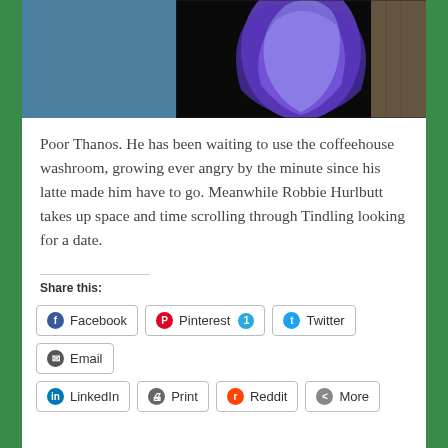[Figure (illustration): A digital art illustration showing a large purple figure (Thanos) waiting, set against a teal/blue background on the left and a dark stylized painting on the right.]
Poor Thanos. He has been waiting to use the coffeehouse washroom, growing ever angry by the minute since his latte made him have to go. Meanwhile Robbie Hurlbutt takes up space and time scrolling through Tindling looking for a date.
Share this:
Facebook
Pinterest 1
Twitter
Email
LinkedIn
Print
Reddit
More